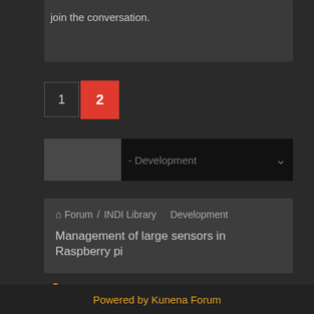join the conversation.
1  2
- Development
Forum / INDI Library  Development
Management of large sensors in Raspberry pi
Time to create page: 0.542 seconds
Powered by Kunena Forum